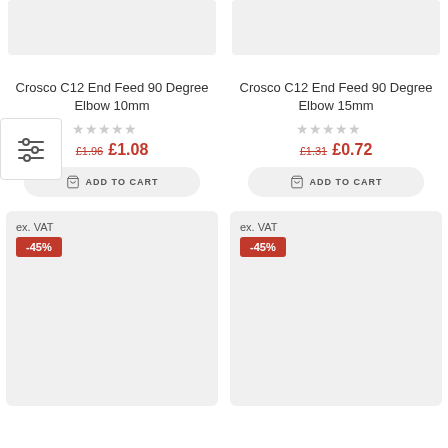[Figure (photo): Product image area for Crosco C12 End Feed 90 Degree Elbow 10mm (top left, gray placeholder)]
Crosco C12 End Feed 90 Degree Elbow 10mm
★★★★★ (empty stars rating)
£1.96 £1.08
ADD TO CART
[Figure (photo): Product image area for Crosco C12 End Feed 90 Degree Elbow 15mm (top right, gray placeholder)]
Crosco C12 End Feed 90 Degree Elbow 15mm
★★★★★ (empty stars rating)
£1.31 £0.72
ADD TO CART
[Figure (photo): Bottom left product card with ex. VAT label and -45% discount badge, gray placeholder image area]
ex. VAT
-45%
[Figure (photo): Bottom right product card with ex. VAT label and -45% discount badge, gray placeholder image area]
ex. VAT
-45%